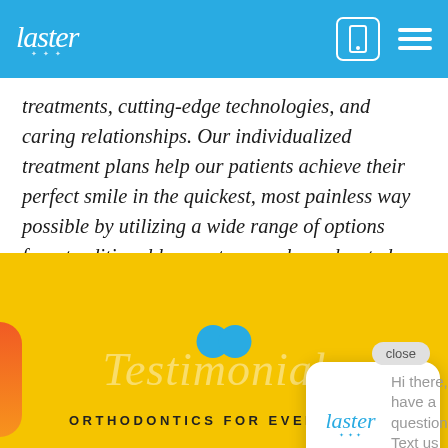Laster Orthodontics
treatments, cutting-edge technologies, and caring relationships. Our individualized treatment plans help our patients achieve their perfect smile in the quickest, most painless way possible by utilizing a wide range of options from traditional braces to propel accelerated treatment to Dr. Laster's in-house aligner program, Laster Perfect Smile. With three locations thr... life-changing s...
[Figure (screenshot): Chat popup widget with Laster logo and text: 'Hi there, have a question? Text us here.' with a close button]
Testimonials — ORTHODONTICS FOR EVERYONE0